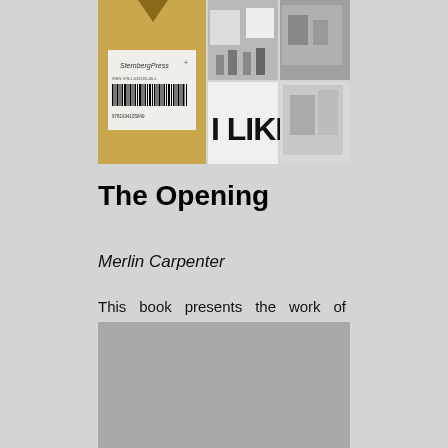[Figure (photo): Book cover image of 'The Opening' by Merlin Carpenter, showing a gold/brown cover with a Sternberg Press logo and barcode on the left, and black-and-white photos on the right including one showing text 'I LIKE']
The Opening
Merlin Carpenter
This book presents the work of London-based artist Merlin Carpenter. (Engl.)
29.00 €
[Figure (photo): A gray/silver colored image placeholder at the bottom of the page]